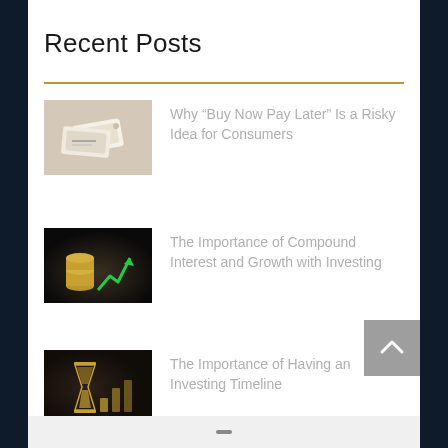Recent Posts
Why “Buy Now Pay Later” Is a Risky Idea for Consumers
The Importance of Compound Interest and Growth with Investing
The Importance of Having an Investing Timeline